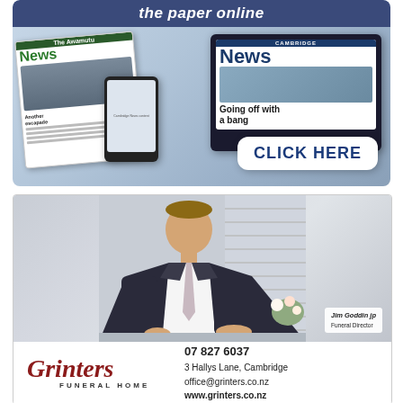[Figure (infographic): Cambridge News digital advertisement showing newspaper on tablet and laptop with 'the paper online' header and 'CLICK HERE' button]
[Figure (photo): Grinter's Funeral Home advertisement showing Jim Goddin JP, Funeral Director, in a professional photo]
JIM GODDIN JP
Funeral Director
07 827 6037
3 Hallys Lane, Cambridge
office@grinters.co.nz
www.grinters.co.nz